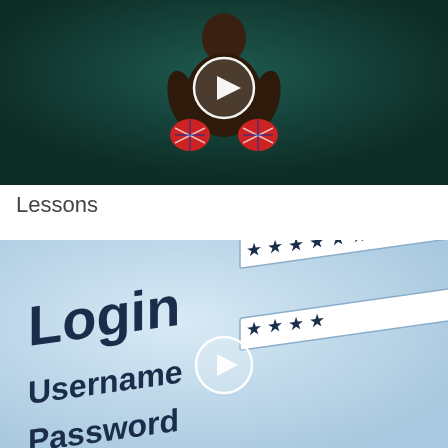[Figure (photo): A muscular shirtless boxer/fighter sitting with Union Jack boxing gloves, on a dark teal background, with a white circular play button overlay in the center]
Lessons
[Figure (photo): Close-up of a computer login screen showing the words 'Login', 'Username', 'Password' with asterisk-filled input fields on a light blue background, with a white circular play button overlay in the center]